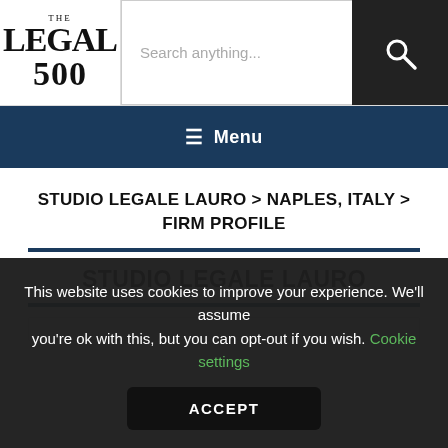[Figure (logo): The Legal 500 logo - stylized text with 'THE', 'LEGAL', '500']
Search anything...
≡ Menu
STUDIO LEGALE LAURO > NAPLES, ITALY > FIRM PROFILE
STUDIO LEGALE LAURO
This website uses cookies to improve your experience. We'll assume you're ok with this, but you can opt-out if you wish. Cookie settings ACCEPT